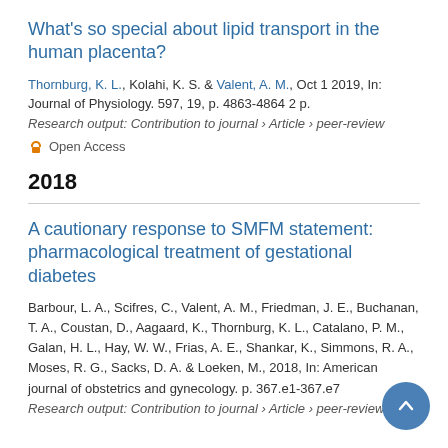What's so special about lipid transport in the human placenta?
Thornburg, K. L., Kolahi, K. S. & Valent, A. M., Oct 1 2019, In: Journal of Physiology. 597, 19, p. 4863-4864 2 p.
Research output: Contribution to journal › Article › peer-review
Open Access
2018
A cautionary response to SMFM statement: pharmacological treatment of gestational diabetes
Barbour, L. A., Scifres, C., Valent, A. M., Friedman, J. E., Buchanan, T. A., Coustan, D., Aagaard, K., Thornburg, K. L., Catalano, P. M., Galan, H. L., Hay, W. W., Frias, A. E., Shankar, K., Simmons, R. A., Moses, R. G., Sacks, D. A. & Loeken, M., 2018, In: American journal of obstetrics and gynecology. p. 367.e1-367.e7
Research output: Contribution to journal › Article › peer-review